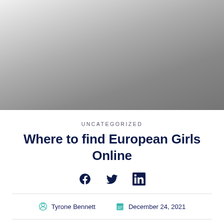[Figure (photo): Gray gradient hero image placeholder at top of page]
UNCATEGORIZED
Where to find European Girls Online
Social share icons: Facebook, Twitter, LinkedIn
Tyrone Bennett  December 24, 2021